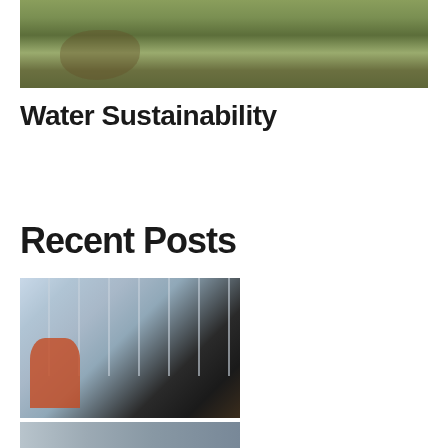[Figure (photo): Top portion of a photo showing muddy water or soil with green plants, likely a flooded or wet agricultural field]
Water Sustainability
Recent Posts
[Figure (photo): Person in orange gloves working on solar panel installation, viewed from below the panel array showing wiring and connectors]
[Figure (photo): Partial view of another photo at bottom of page, appears to show equipment or machinery]